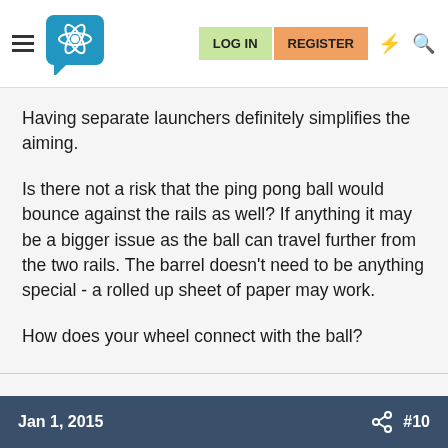LOG IN | REGISTER
Having separate launchers definitely simplifies the aiming.
Is there not a risk that the ping pong ball would bounce against the rails as well? If anything it may be a bigger issue as the ball can travel further from the two rails. The barrel doesn't need to be anything special - a rolled up sheet of paper may work.
How does your wheel connect with the ball?
Jan 1, 2015  #10